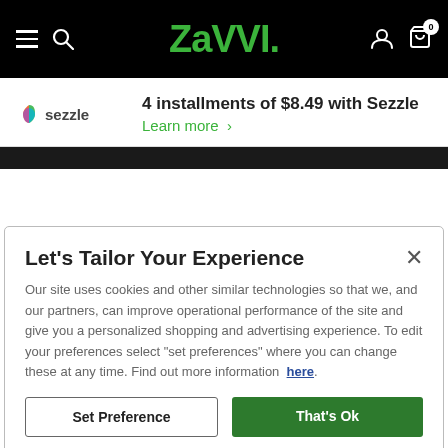Zavvi — navigation bar with hamburger menu, search icon, logo, user icon, and cart icon (0 items)
4 installments of $8.49 with Sezzle
Learn more >
Let's Tailor Your Experience
Our site uses cookies and other similar technologies so that we, and our partners, can improve operational performance of the site and give you a personalized shopping and advertising experience. To edit your preferences select "set preferences" where you can change these at any time. Find out more information here.
Set Preference
That's Ok